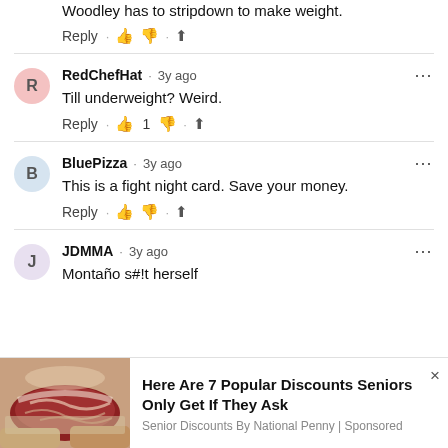Woodley has to stripdown to make weight.
Reply · 👍 👎 · ⬆
RedChefHat · 3y ago
Till underweight? Weird.
Reply · 👍 1 👎 · ⬆
BluePizza · 3y ago
This is a fight night card. Save your money.
Reply · 👍 👎 · ⬆
JDMMA · 3y ago
Montaño s#!t herself
[Figure (photo): Raw beef/steak held in hands, advertisement image]
Here Are 7 Popular Discounts Seniors Only Get If They Ask
Senior Discounts By National Penny | Sponsored